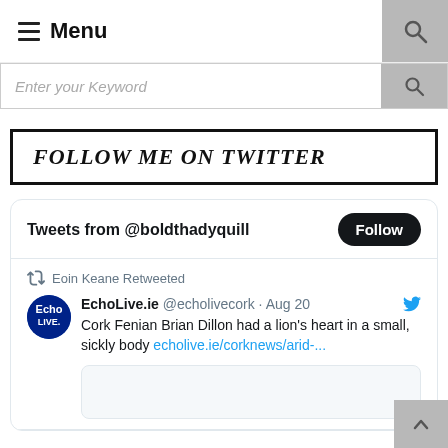Menu
Enter your Keyword
FOLLOW ME ON TWITTER
Tweets from @boldthadyquill
Eoin Keane Retweeted
EchoLive.ie @echolivecork · Aug 20 Cork Fenian Brian Dillon had a lion's heart in a small, sickly body echolive.ie/corknews/arid-...